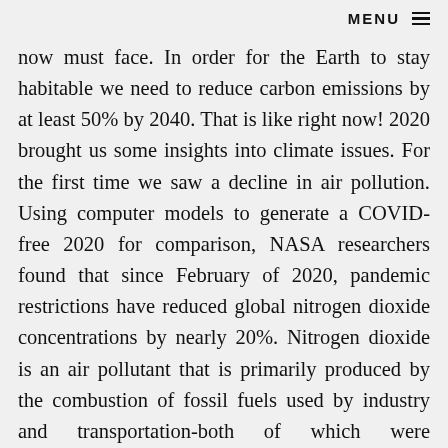MENU ≡
now must face. In order for the Earth to stay habitable we need to reduce carbon emissions by at least 50% by 2040. That is like right now! 2020 brought us some insights into climate issues. For the first time we saw a decline in air pollution. Using computer models to generate a COVID-free 2020 for comparison, NASA researchers found that since February of 2020, pandemic restrictions have reduced global nitrogen dioxide concentrations by nearly 20%. Nitrogen dioxide is an air pollutant that is primarily produced by the combustion of fossil fuels used by industry and transportation-both of which were significantly reduced during the height of the pandemic to prevent the novel coronavirus from spreading. Now, as we enter 2021 there may be a way to reduce our carbon